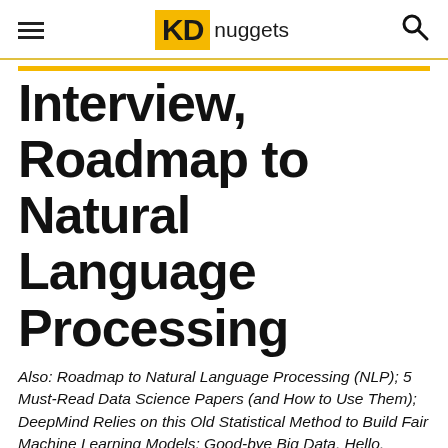KD nuggets
Interview, Roadmap to Natural Language Processing
Also: Roadmap to Natural Language Processing (NLP); 5 Must-Read Data Science Papers (and How to Use Them); DeepMind Relies on this Old Statistical Method to Build Fair Machine Learning Models; Good-bye Big Data. Hello, Massive Data!